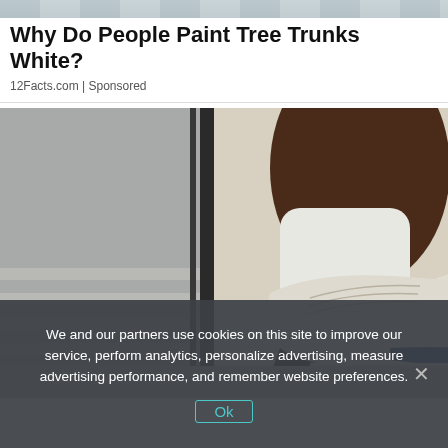[Figure (photo): Partial top strip of outdoor snowy/icy scene]
Why Do People Paint Tree Trunks White?
12Facts.com | Sponsored
[Figure (photo): Close-up photo of a person wearing a white Adidas Ultraboost 2019 sneaker with red and blue accents, sitting on stairs with grey metal railings]
We and our partners use cookies on this site to improve our service, perform analytics, personalize advertising, measure advertising performance, and remember website preferences.
Ok